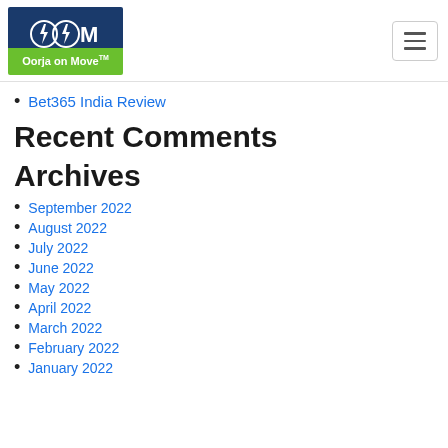Oorja on Move logo and hamburger menu
Bet365 India Review
Recent Comments
Archives
September 2022
August 2022
July 2022
June 2022
May 2022
April 2022
March 2022
February 2022
January 2022